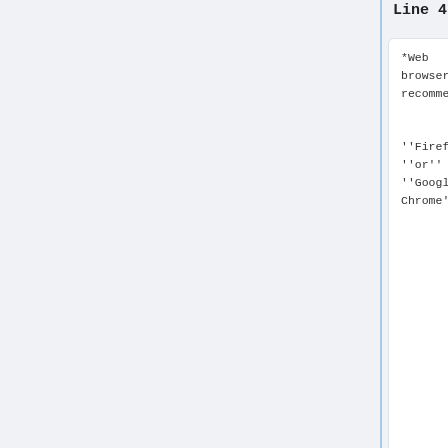Line 47:
Line 80:
*Web browsers recommended:

''Firefox'' ''or'' ''Google Chrome''
*Web browsers recommended:

''Firefox'' ''or'' ''Google Chrome''
==Working Documents==
==US Phantoms==
*Exploratory QIBA Elastic and Viscoelastic homogeneous SWS calibration